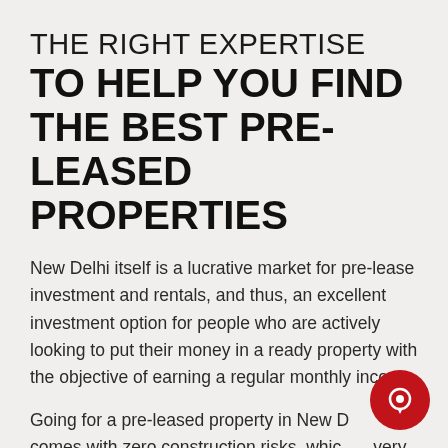THE RIGHT EXPERTISE TO HELP YOU FIND THE BEST PRE-LEASED PROPERTIES
New Delhi itself is a lucrative market for pre-lease investment and rentals, and thus, an excellent investment option for people who are actively looking to put their money in a ready property with the objective of earning a regular monthly income.
Going for a pre-leased property in New Delhi comes with zero construction risks, which is very unlikely to an under-construction or a